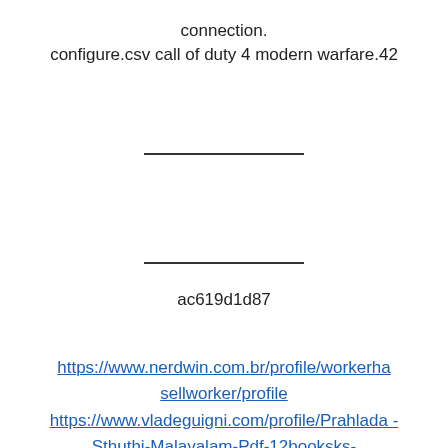connection.
configure.csv call of duty 4 modern warfare.42
ac619d1d87
https://www.nerdwin.com.br/profile/workerhasellworker/profile
https://www.vladeguigni.com/profile/Prahlada-Sthuthi-Malayalam-Pdf-12booksks-mykhane/profile
https://www.sohapeachmansion.com/profile/Fofix-Theme-Rock-Band-2-18/profile
https://wakelet.com/wake/Xrhfgt5bQDaltm4ocDZiC
https://tuonextcompwenme.wixsite.com/dijeffdomo/post/free-download-moviestorm-full-version-latest-2022